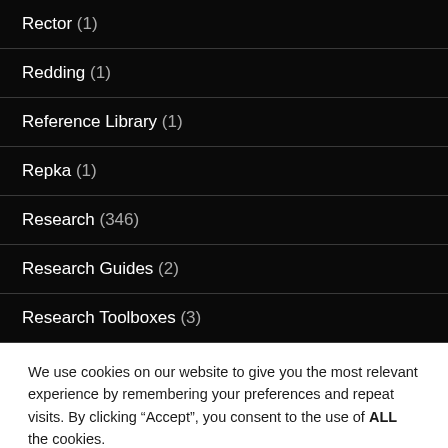Rector (1)
Redding (1)
Reference Library (1)
Repka (1)
Research (346)
Research Guides (2)
Research Toolboxes (3)
We use cookies on our website to give you the most relevant experience by remembering your preferences and repeat visits. By clicking “Accept”, you consent to the use of ALL the cookies.
Do not sell my personal information.
Cookie settings   ACCEPT